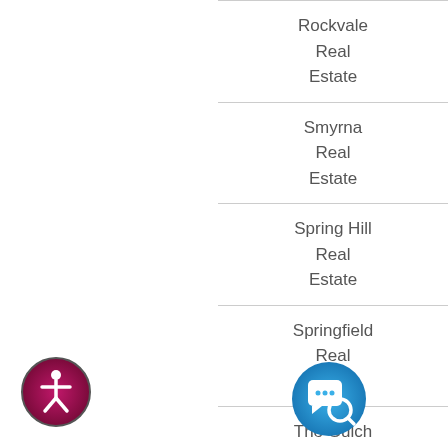Rockvale Real Estate
Smyrna Real Estate
Spring Hill Real Estate
Springfield Real Estate
The Gulch Nashville
The Nations
[Figure (illustration): Accessibility icon: circular badge with person figure in white on dark pink/magenta gradient background]
[Figure (illustration): Chat/support icon: circular badge with speech bubble and magnifying glass in white on blue background]